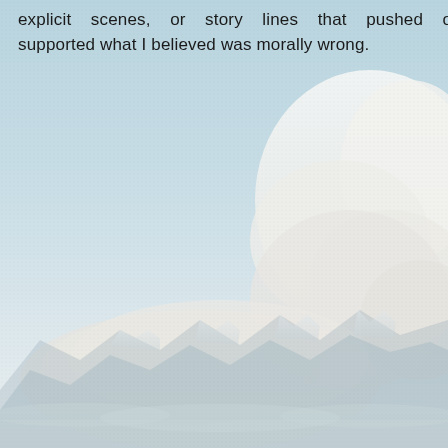explicit scenes, or story lines that pushed or supported what I believed was morally wrong.
[Figure (illustration): A misty mountainous landscape with snow-capped peaks in the lower portion of the image, large white clouds in the middle-right area, and a light blue-grey sky filling most of the background. The scene has a soft, faded, wintry appearance.]